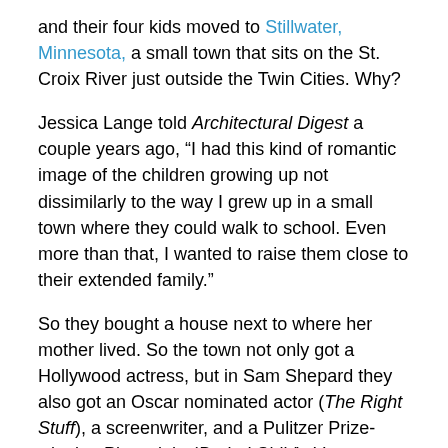and their four kids moved to Stillwater, Minnesota,  a small town that sits on the St. Croix River just outside the Twin Cities.  Why?
Jessica Lange told Architectural Digest a couple years ago, “I had this kind of romantic image of the children growing up not dissimilarly to the way I grew up in a small town where they could walk to school. Even more than that, I wanted to raise them close to their extended family.”
So they bought a house next to where her mother lived. So the town not only got a Hollywood actress, but in Sam Shepard they also got an Oscar nominated actor (The Right Stuff), a screenwriter,  and a Pulitzer Prize-winning Playwright (Buried Child).  It’s not so off the wall when you think about it. Lange was born 15 miles south of Duluth in Cloquet,  Shepard was born in Fort Sheridan, IL.